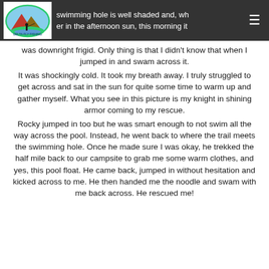We went early and the day was not warm where we were. The swimming hole is well shaded and, while warmer in the afternoon sun, this morning it was downright frigid. Only thing is that I didn't know that when I jumped in and swam across it.
was downright frigid. Only thing is that I didn't know that when I jumped in and swam across it.
It was shockingly cold. It took my breath away. I truly struggled to get across and sat in the sun for quite some time to warm up and gather myself. What you see in this picture is my knight in shining armor coming to my rescue.
Rocky jumped in too but he was smart enough to not swim all the way across the pool. Instead, he went back to where the trail meets the swimming hole. Once he made sure I was okay, he trekked the half mile back to our campsite to grab me some warm clothes, and yes, this pool float. He came back, jumped in without hesitation and kicked across to me. He then handed me the noodle and swam with me back across. He rescued me!